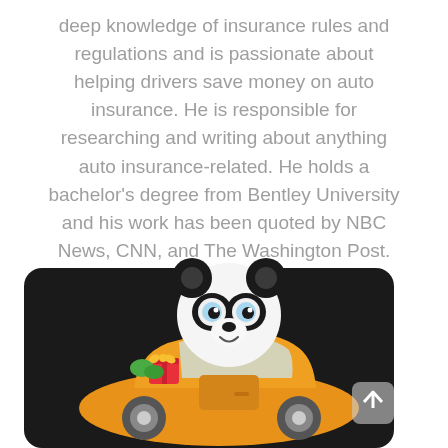deep knowledge of insurance rules and regulations and is passionate about helping drivers save money on auto insurance. He is responsible for researching and writing about anything auto insurance-related. He holds a bachelor's degree from Bentley University and his work has been quoted by NBC News, CNN, and The Washington Post.
[Figure (illustration): A cartoon panda character sitting in or behind an orange car with white wheels. The car has a gift box with a bow in the back. The scene is set against a dark (near-black) rounded rectangle background. A small white scroll/button icon is visible in the lower right corner.]